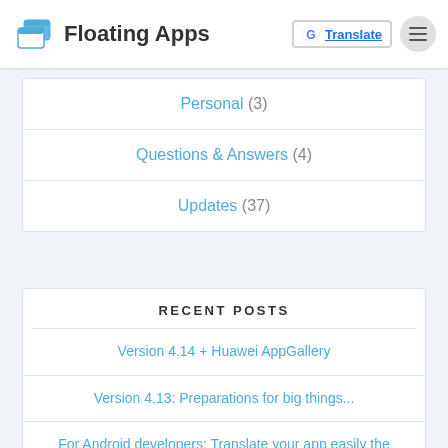Floating Apps
Personal (3)
Questions & Answers (4)
Updates (37)
RECENT POSTS
Version 4.14 + Huawei AppGallery
Version 4.13: Preparations for big things...
For Android developers: Translate your app easily the same way Floating Apps is translated
Full MirrorLink on Samsung phones with Android 10